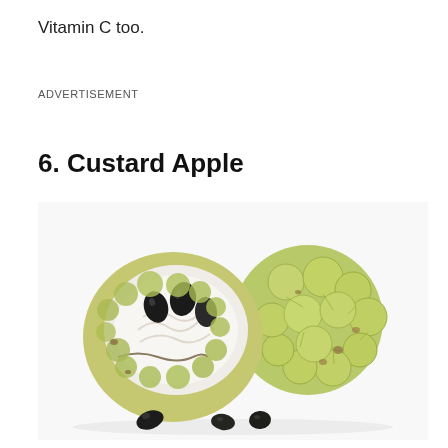Vitamin C too.
ADVERTISEMENT
6. Custard Apple
[Figure (photo): Photo of two custard apples on a white background. One is cut open showing white flesh and black seeds inside. The other is whole showing the green bumpy exterior. Three black seeds are scattered on the surface in front.]